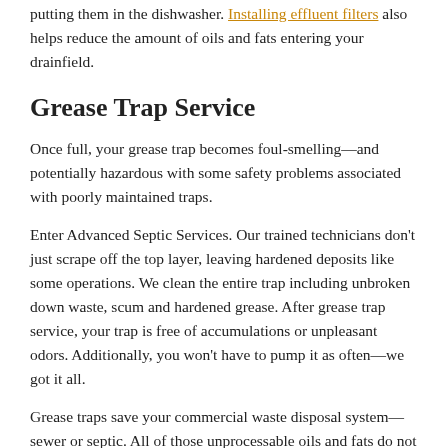putting them in the dishwasher. Installing effluent filters also helps reduce the amount of oils and fats entering your drainfield.
Grease Trap Service
Once full, your grease trap becomes foul-smelling—and potentially hazardous with some safety problems associated with poorly maintained traps.
Enter Advanced Septic Services. Our trained technicians don't just scrape off the top layer, leaving hardened deposits like some operations. We clean the entire trap including unbroken down waste, scum and hardened grease. After grease trap service, your trap is free of accumulations or unpleasant odors. Additionally, you won't have to pump it as often—we got it all.
Grease traps save your commercial waste disposal system—sewer or septic. All of those unprocessable oils and fats do not reach or clog your pipes or drainfield. But, like the rest of your system, a grease trap needs maintenance. Call Advanced Septic Services at 352.242.6100 today to schedule a grease trap installation or service.